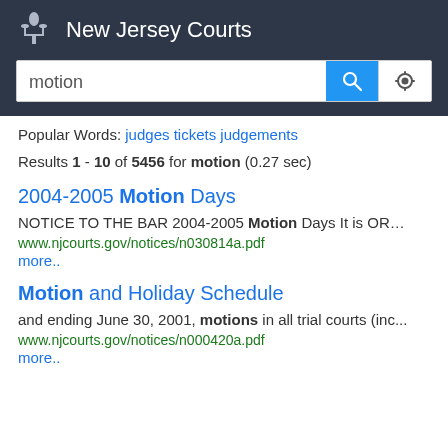New Jersey Courts
motion [search query]
Popular Words: judges tickets judgements
Results 1 - 10 of 5456 for motion (0.27 sec)
2004-2005 Motion Days
NOTICE TO THE BAR 2004-2005 Motion Days It is OR…
www.njcourts.gov/notices/n030814a.pdf
more..
Motion and Holiday Schedule
and ending June 30, 2001, motions in all trial courts (inc...
www.njcourts.gov/notices/n000420a.pdf
more..